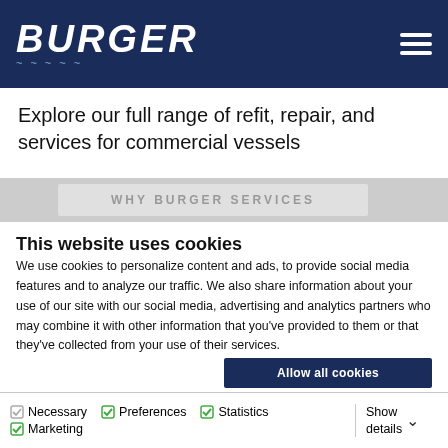BURGER
Explore our full range of refit, repair, and services for commercial vessels
[Figure (screenshot): Partially visible page section with blurred/cropped banner text]
This website uses cookies
We use cookies to personalize content and ads, to provide social media features and to analyze our traffic. We also share information about your use of our site with our social media, advertising and analytics partners who may combine it with other information that you've provided to them or that they've collected from your use of their services.
Allow all cookies
Allow selection
Use necessary cookies only
Necessary  Preferences  Statistics  Marketing  Show details